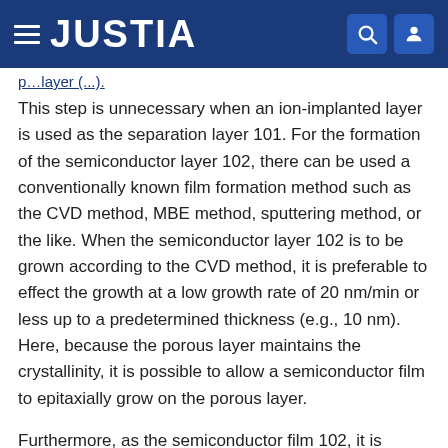JUSTIA
This step is unnecessary when an ion-implanted layer is used as the separation layer 101. For the formation of the semiconductor layer 102, there can be used a conventionally known film formation method such as the CVD method, MBE method, sputtering method, or the like. When the semiconductor layer 102 is to be grown according to the CVD method, it is preferable to effect the growth at a low growth rate of 20 nm/min or less up to a predetermined thickness (e.g., 10 nm). Here, because the porous layer maintains the crystallinity, it is possible to allow a semiconductor film to epitaxially grow on the porous layer.
Furthermore, as the semiconductor film 102, it is possible to use a monocrystalline silicon thin film or a chemical compound semiconductor film such as of